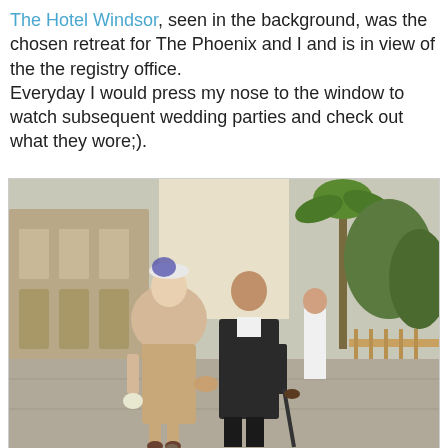The Hotel Windsor, seen in the background, was the chosen retreat for The Phoenix and I and is in view of the the registry office.
Everyday I would press my nose to the window to watch subsequent wedding parties and check out what they wore;).
[Figure (photo): A couple walking away from the camera hand-in-hand. The woman is wearing a cream/beige fur stole and a matching lace pencil skirt with a fascinator hat, holding a small bouquet. The man is wearing a dark suit and using a walking cane. They are on a paved outdoor area with a palm tree and classical building architecture in the background.]